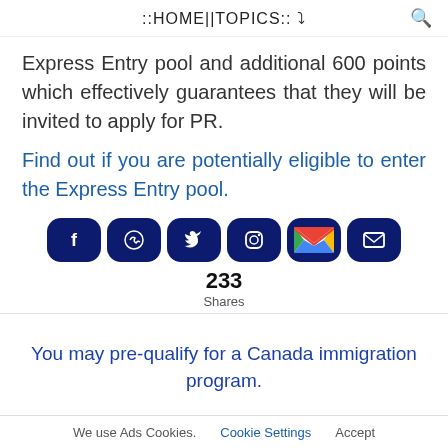::HOME||TOPICS:: ▾
Express Entry pool and additional 600 points which effectively guarantees that they will be invited to apply for PR.
Find out if you are potentially eligible to enter the Express Entry pool.
[Figure (infographic): Six social media share buttons (Facebook, WhatsApp, Twitter, Instagram, Gmail, Email) followed by share count of 233 Shares]
You may pre-qualify for a Canada immigration program.
We use Ads Cookies.   Cookie Settings   Accept